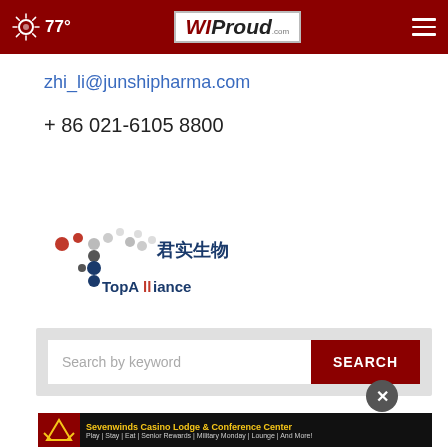77° WIProud.com
zhi_li@junshipharma.com
+ 86 021-6105 8800
[Figure (logo): Junshi Biosciences TopAlliance logo with red and grey dot-cluster antibody icon and Chinese characters 君实生物]
[Figure (screenshot): Search by keyword text input with red SEARCH button and dark close X button]
[Figure (screenshot): Sevenwinds Casino Lodge & Conference Center advertisement banner: Play | Stay | Eat | Senior Rewards | Military Monday | Lounge | And More!]